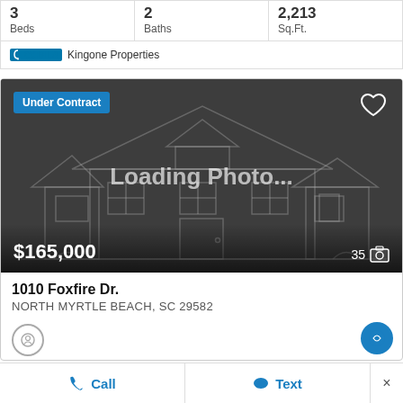|  |  |  |
| --- | --- | --- |
| 3
Beds | 2
Baths | 2,213
Sq.Ft. |
CCMLS  Kingone Properties
[Figure (screenshot): Real estate listing card showing a property under contract with a loading photo placeholder. Shows price $165,000 and 35 photos.]
1010 Foxfire Dr.
NORTH MYRTLE BEACH, SC 29582
Call   Text   ×